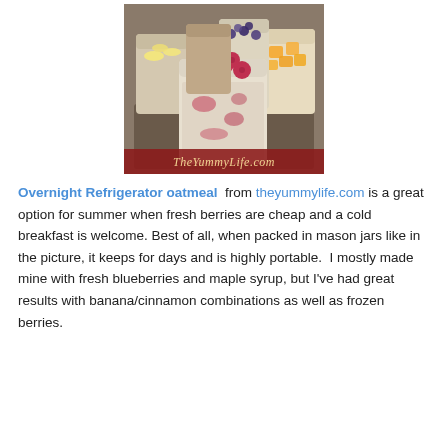[Figure (photo): Multiple mason jars filled with overnight oatmeal topped with various fresh fruits including raspberries, blueberries, bananas, and mango, on a tray. The jar in the foreground has raspberry/berry oatmeal. A red banner at the bottom reads 'TheYummyLife.com'.]
Overnight Refrigerator oatmeal from theyummylife.com is a great option for summer when fresh berries are cheap and a cold breakfast is welcome. Best of all, when packed in mason jars like in the picture, it keeps for days and is highly portable.  I mostly made mine with fresh blueberries and maple syrup, but I've had great results with banana/cinnamon combinations as well as frozen berries.